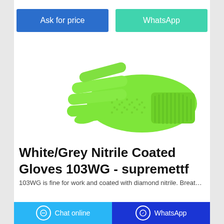[Figure (other): Two buttons: 'Ask for price' (blue) and 'WhatsApp' (teal/green)]
[Figure (photo): A bright green nitrile coated work glove shown palm-down on a white background.]
White/Grey Nitrile Coated Gloves 103WG - supremettf
103WG is for fine work and coated with diamond nitrile. Breathable and...
Chat online   WhatsApp